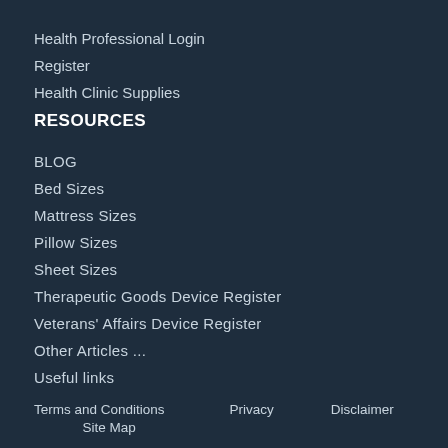Health Professional Login
Register
Health Clinic Supplies
RESOURCES
BLOG
Bed Sizes
Mattress Sizes
Pillow Sizes
Sheet Sizes
Therapeutic Goods Device Register
Veterans' Affairs Device Register
Other Articles ...
Useful links
Terms and Conditions   Privacy   Disclaimer   Site Map